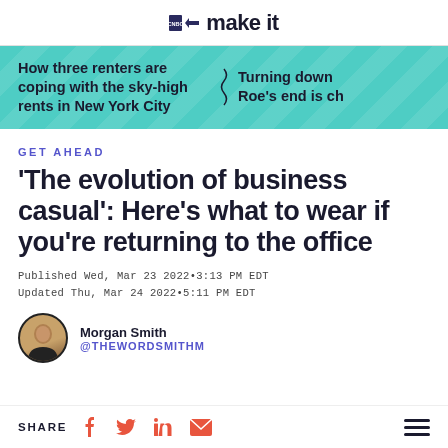CNBC make it
[Figure (screenshot): Teal banner with navigation links: 'How three renters are coping with the sky-high rents in New York City' and 'Turning down Roe's end is ch']
GET AHEAD
'The evolution of business casual': Here's what to wear if you're returning to the office
Published Wed, Mar 23 2022•3:13 PM EDT
Updated Thu, Mar 24 2022•5:11 PM EDT
Morgan Smith
@THEWORDSMITHM
SHARE